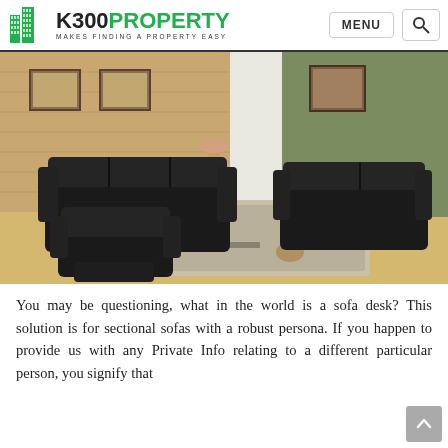K300PROPERTY — MAKES FINDING A PROPERTY EASY | MENU | Search
[Figure (photo): Living room scene with a set of black leather reclining sofas — a three-seater sofa, a loveseat, and a single recliner chair — arranged on a beige area rug over light hardwood floors, with a brick wall and framed artwork in the background.]
You may be questioning, what in the world is a sofa desk? This solution is for sectional sofas with a robust persona. If you happen to provide us with any Private Info relating to a different particular person, you signify that